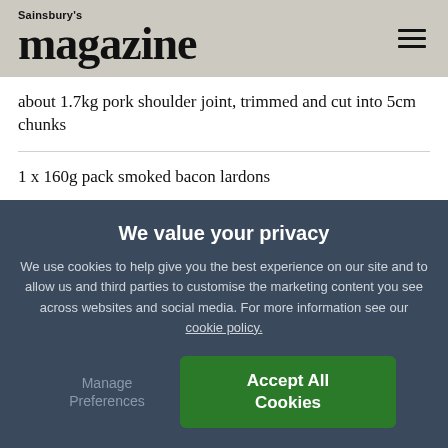Sainsbury's magazine
about 1.7kg pork shoulder joint, trimmed and cut into 5cm chunks
1 x 160g pack smoked bacon lardons
250g shallots, peeled and halved
500g leeks, thickly sliced
We value your privacy
We use cookies to help give you the best experience on our site and to allow us and third parties to customise the marketing content you see across websites and social media. For more information see our cookie policy.
Manage Preferences
Accept All Cookies